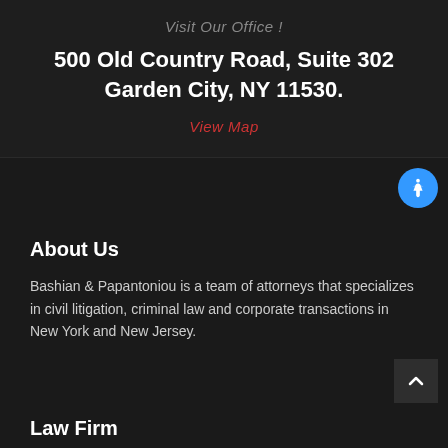Visit Our Office !
500 Old Country Road, Suite 302 Garden City, NY 11530.
View Map
About Us
Bashian & Papantoniou is a team of attorneys that specializes in civil litigation, criminal law and corporate transactions in New York and New Jersey.
Law Firm